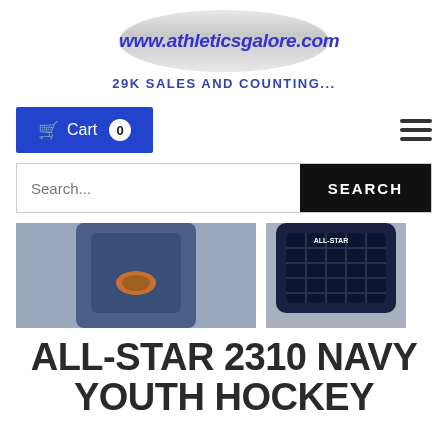[Figure (logo): Oval grey gradient logo with www.athleticsgalore.com in bold italic blue text]
29K SALES AND COUNTING...
[Figure (infographic): Blue cart button with Cart label and 0 badge, and hamburger menu icon on the right]
[Figure (infographic): Search input field with SEARCH button on right]
[Figure (photo): Two product photos of All-Star 2310 Navy Youth Hockey helmet/catcher gear, cropped]
ALL-STAR 2310 NAVY YOUTH HOCKEY